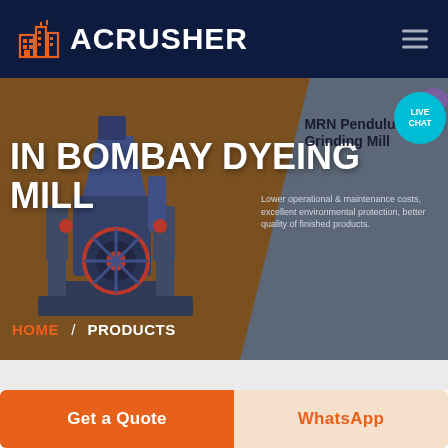ACRUSHER
[Figure (screenshot): Hero banner showing a large industrial crusher/mill machine on a brown-grey diagonal split background with the text IN BOMBAY DYEING MILL as page title, MRN Pendulum Roller Grinding Mill product label on the right, a breadcrumb navigation HOME / PRODUCTS, and a LIVE CHAT bubble in the top right corner]
IN BOMBAY DYEING MILL
MRN Pendulum Roller Grinding Mill
Lower operational & maintenance costs, excellent environmental protection, better quality of finished products.
HOME / PRODUCTS
Get a Quote
WhatsApp